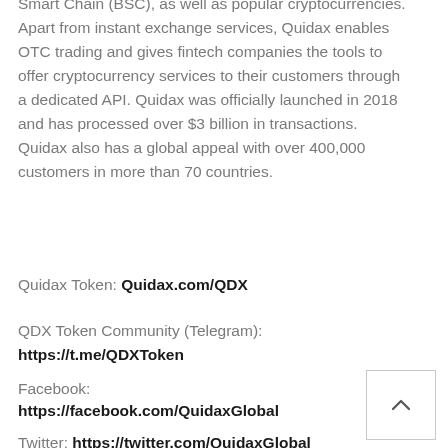Smart Chain (BSC), as well as popular cryptocurrencies. Apart from instant exchange services, Quidax enables OTC trading and gives fintech companies the tools to offer cryptocurrency services to their customers through a dedicated API. Quidax was officially launched in 2018 and has processed over $3 billion in transactions. Quidax also has a global appeal with over 400,000 customers in more than 70 countries.
Quidax Token: Quidax.com/QDX
QDX Token Community (Telegram):
https://t.me/QDXToken
Facebook:
https://facebook.com/QuidaxGlobal
Twitter: https://twitter.com/QuidaxGlobal